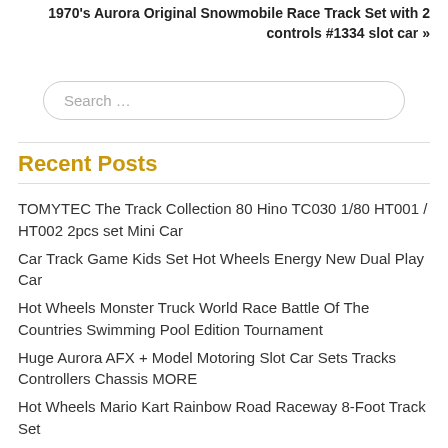1970's Aurora Original Snowmobile Race Track Set with 2 controls #1334 slot car »
Search …
Recent Posts
TOMYTEC The Track Collection 80 Hino TC030 1/80 HT001 / HT002 2pcs set Mini Car
Car Track Game Kids Set Hot Wheels Energy New Dual Play Car
Hot Wheels Monster Truck World Race Battle Of The Countries Swimming Pool Edition Tournament
Huge Aurora AFX + Model Motoring Slot Car Sets Tracks Controllers Chassis MORE
Hot Wheels Mario Kart Rainbow Road Raceway 8-Foot Track Set